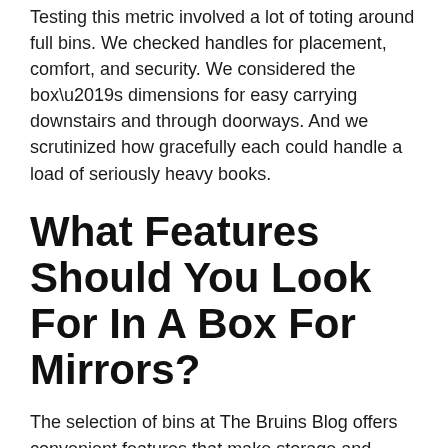Testing this metric involved a lot of toting around full bins. We checked handles for placement, comfort, and security. We considered the box’s dimensions for easy carrying downstairs and through doorways. And we scrutinized how gracefully each could handle a load of seriously heavy books.
What Features Should You Look For In A Box For Mirrors?
The selection of bins at The Bruins Blog offers convenient features that make storage and organization a breeze. Features include: